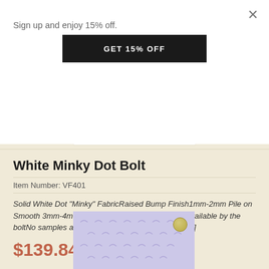Sign up and enjoy 15% off.
GET 15% OFF
[Figure (screenshot): Partial product image top - white fabric swatch]
White Minky Dot Bolt
Item Number: VF401
Solid White Dot "Minky" FabricRaised Bump Finish1mm-2mm Pile on Smooth 3mm-4mm Pile on DotsThis fabric is only available by the boltNo samples are available12 YARD BOLT [ more ]
$139.84 / Each
[Figure (photo): Minky dot fabric swatch in lavender/light purple color with raised dot pattern, quarter coin for scale]